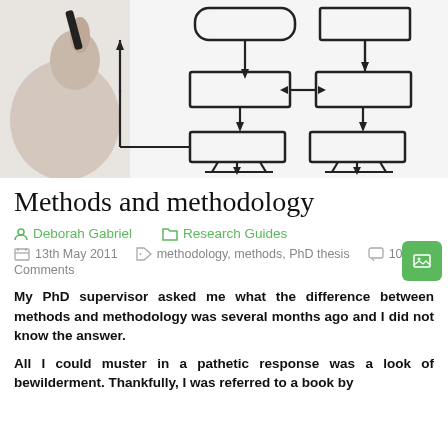[Figure (photo): A hand drawing a flowchart diagram with boxes and arrows on a whiteboard or glass surface]
Methods and methodology
Deborah Gabriel   Research Guides
13th May 2011   methodology, methods, PhD thesis   106 Comments
My PhD supervisor asked me what the difference between methods and methodology was several months ago and I did not know the answer.
All I could muster in a pathetic response was a look of bewilderment. Thankfully, I was referred to a book by